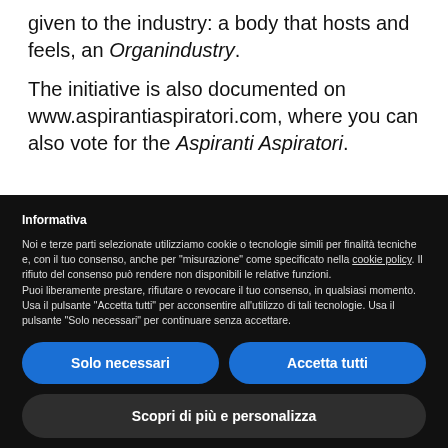given to the industry: a body that hosts and feels, an Organindustry.
The initiative is also documented on www.aspirantiaspiratori.com, where you can also vote for the Aspiranti Aspiratori.
Informativa
Noi e terze parti selezionate utilizziamo cookie o tecnologie simili per finalità tecniche e, con il tuo consenso, anche per "misurazione" come specificato nella cookie policy. Il rifiuto del consenso può rendere non disponibili le relative funzioni.
Puoi liberamente prestare, rifiutare o revocare il tuo consenso, in qualsiasi momento.
Usa il pulsante "Accetta tutti" per acconsentire all'utilizzo di tali tecnologie. Usa il pulsante "Solo necessari" per continuare senza accettare.